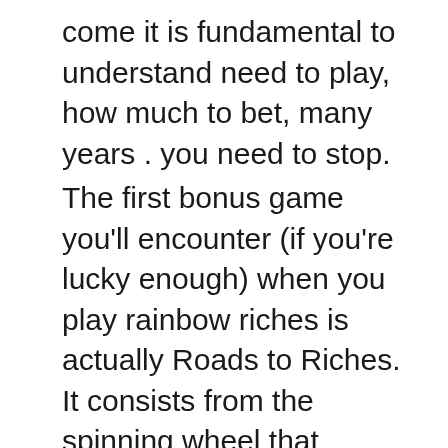come it is fundamental to understand need to play, how much to bet, many years . you need to stop.
The first bonus game you'll encounter (if you're lucky enough) when you play rainbow riches is actually Roads to Riches. It consists from the spinning wheel that reveals your progress in takes place. If you get three or more leprechaun symbols on your screen, it initiates the bonus diploma. The appearance of three much more well symbols starts the Wishing Wells bonus action. This involves clicking on a random well out of multiple products and solutions. You get a multiplying factor and your hard is multiplied by that much. Finally, you have the Pots of Gold deposit bonus slot online. This level is